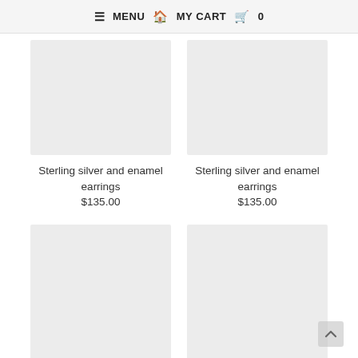≡ MENU  🏠  MY CART  🛒  0
[Figure (photo): Product image placeholder (light gray rectangle) for Sterling silver and enamel earrings]
Sterling silver and enamel earrings
$135.00
[Figure (photo): Product image placeholder (light gray rectangle) for Sterling silver and enamel earrings]
Sterling silver and enamel earrings
$135.00
[Figure (photo): Product image placeholder (light gray rectangle) - second row left]
[Figure (photo): Product image placeholder (light gray rectangle) - second row right]